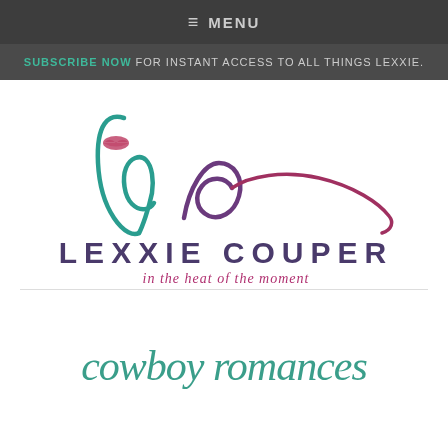≡ MENU
SUBSCRIBE NOW FOR INSTANT ACCESS TO ALL THINGS LEXXIE.
[Figure (logo): Lexxie Couper logo with stylized cursive 'lc' letters in teal and purple/maroon, with a lip print mark, tagline 'in the heat of the moment']
[Figure (logo): Cursive script text 'cowboy romances' in teal/green color]